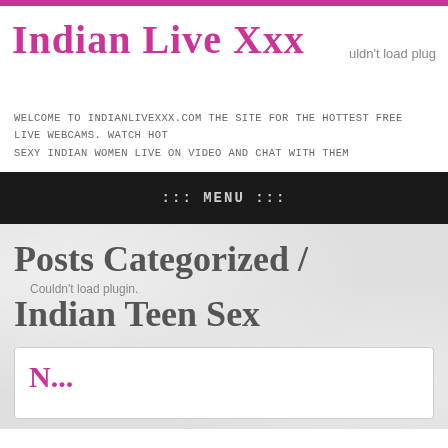Indian Live Xxx
couldn't load plug
Welcome to IndianLiveXXX.com the site for the hottest free live webcams. Watch hot sexy indian women live on video and chat with them
::: MENU :::
Posts Categorized / Indian Teen Sex
Couldn't load plugin.
N...